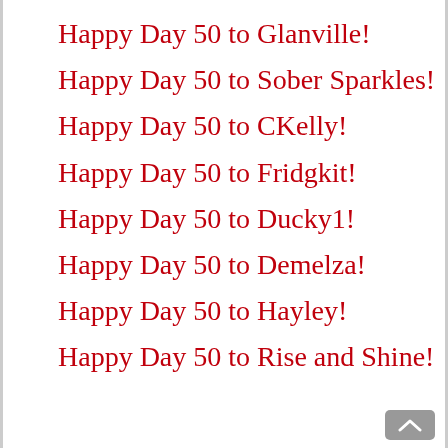Happy Day 50 to Glanville!
Happy Day 50 to Sober Sparkles!
Happy Day 50 to CKelly!
Happy Day 50 to Fridgkit!
Happy Day 50 to Ducky1!
Happy Day 50 to Demelza!
Happy Day 50 to Hayley!
Happy Day 50 to Rise and Shine!